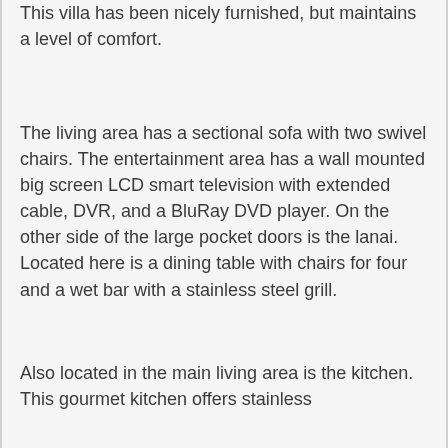This villa has been nicely furnished, but maintains a level of comfort.
The living area has a sectional sofa with two swivel chairs. The entertainment area has a wall mounted big screen LCD smart television with extended cable, DVR, and a BluRay DVD player. On the other side of the large pocket doors is the lanai. Located here is a dining table with chairs for four and a wet bar with a stainless steel grill.
Also located in the main living area is the kitchen. This gourmet kitchen offers stainless